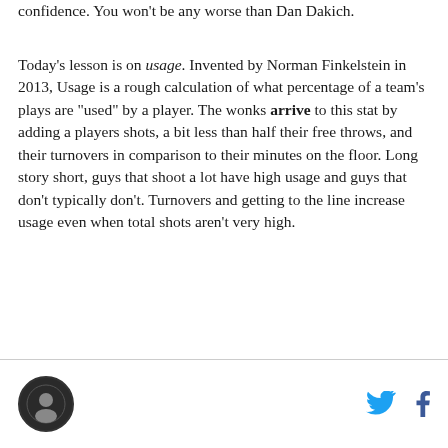confidence. You won't be any worse than Dan Dakich.
Today's lesson is on usage. Invented by Norman Finkelstein in 2013, Usage is a rough calculation of what percentage of a team's plays are "used" by a player. The wonks arrive to this stat by adding a players shots, a bit less than half their free throws, and their turnovers in comparison to their minutes on the floor. Long story short, guys that shoot a lot have high usage and guys that don't typically don't. Turnovers and getting to the line increase usage even when total shots aren't very high.
logo and social icons